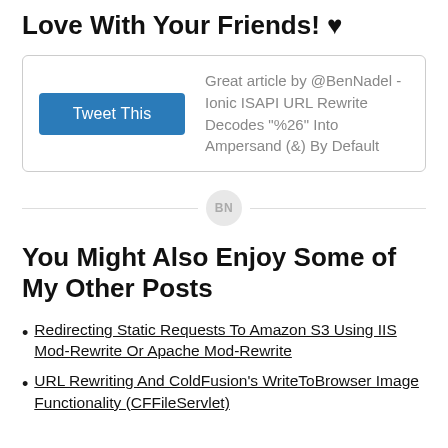Love With Your Friends! ♥
[Figure (other): Tweet This button with tweet text: Great article by @BenNadel - Ionic ISAPI URL Rewrite Decodes "%26" Into Ampersand (&) By Default]
[Figure (other): Divider line with BN badge in center]
You Might Also Enjoy Some of My Other Posts
Redirecting Static Requests To Amazon S3 Using IIS Mod-Rewrite Or Apache Mod-Rewrite
URL Rewriting And ColdFusion's WriteToBrowser Image Functionality (CFFileServlet)